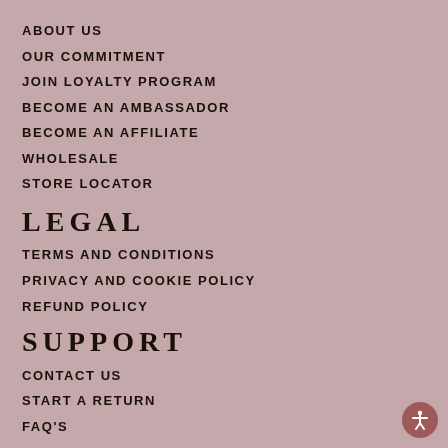ABOUT US
OUR COMMITMENT
JOIN LOYALTY PROGRAM
BECOME AN AMBASSADOR
BECOME AN AFFILIATE
WHOLESALE
STORE LOCATOR
LEGAL
TERMS AND CONDITIONS
PRIVACY AND COOKIE POLICY
REFUND POLICY
SUPPORT
CONTACT US
START A RETURN
FAQ'S
FOLLOW US ON SOCIAL